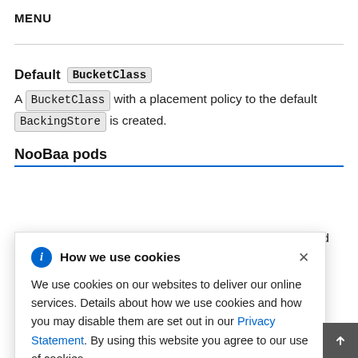MENU
Default BucketClass
A BucketClass with a placement policy to the default BackingStore is created.
NooBaa pods
…and
[Figure (infographic): Cookie consent popup with title 'How we use cookies', info icon, close button, and body text about cookie usage with a Privacy Statement link.]
actual data being stored.